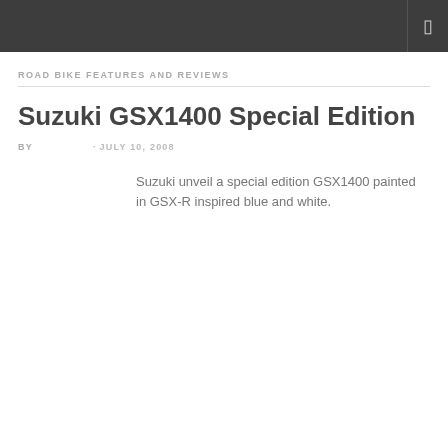ROAD BIKE FEATURES AND REVIEWS
Suzuki GSX1400 Special Edition
BY · JULY 10, 2008
Suzuki unveil a special edition GSX1400 painted in GSX-R inspired blue and white.